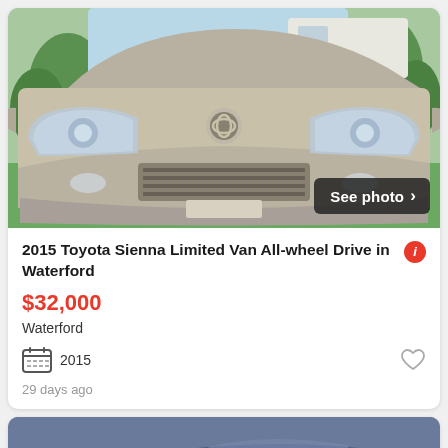[Figure (photo): Front view of a silver/champagne 2015 Toyota Sienna minivan, parked outdoors with green grass and trees in background]
2015 Toyota Sienna Limited Van All-wheel Drive in Waterford
$32,000
Waterford
2015
29 days ago
[Figure (photo): Front three-quarter view of a dark blue sports car (Dodge Viper or similar), partially visible at bottom of page]